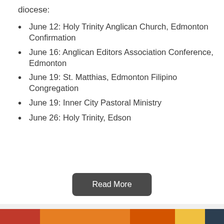diocese:
June 12: Holy Trinity Anglican Church, Edmonton Confirmation
June 16: Anglican Editors Association Conference, Edmonton
June 19: St. Matthias, Edmonton Filipino Congregation
June 19: Inner City Pastoral Ministry
June 26: Holy Trinity, Edson
Read More
[Figure (photo): A person wearing a colorful headpiece/hat, photographed outdoors with colorful background.]